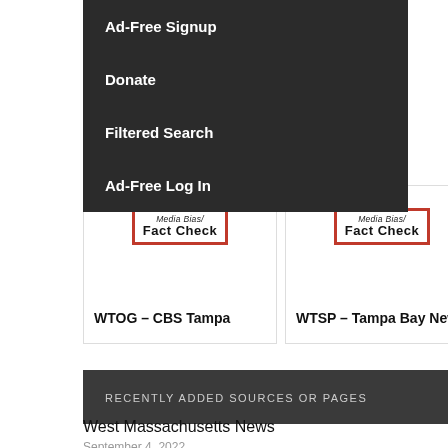Ad-Free Signup
Donate
Filtered Search
Ad-Free Log In
[Figure (logo): Media Bias/Fact Check logo badge with red border, italic top text and bold bottom text]
WTOG – CBS Tampa
[Figure (logo): Media Bias/Fact Check logo badge with red border, italic top text and bold bottom text]
WTSP – Tampa Bay News
RECENTLY ADDED SOURCES OR PAGES
West Massachusetts News
September 4, 2022